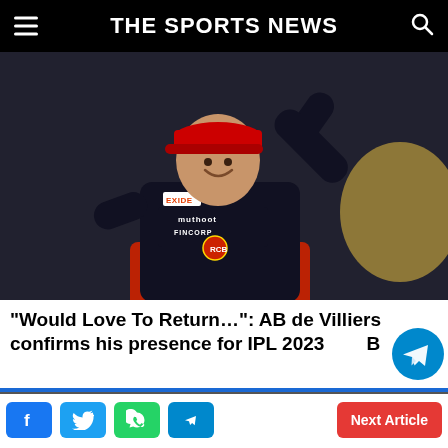THE SPORTS NEWS
[Figure (photo): AB de Villiers in RCB jersey (black and red, with Muthoot Fincorp and Exide sponsorship logos) raising his hand and smiling on a cricket field]
“Would Love To Return…”: AB de Villiers confirms his presence for IPL 2023 RCB
[Figure (other): Telegram share floating button (blue circle with paper plane icon)]
Facebook | Twitter | WhatsApp | Telegram | Next Article